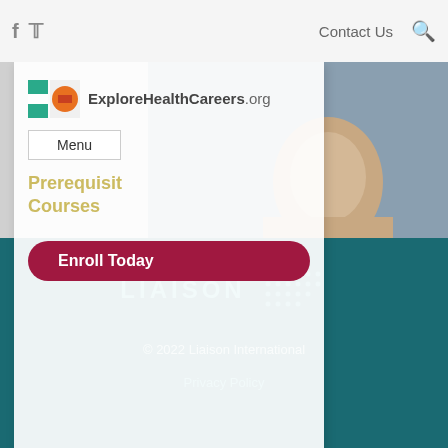Contact Us
[Figure (screenshot): ExploreHealthCareers.org website screenshot showing logo, navigation menu button, Prerequisite Courses text, Enroll Today button, and photo of healthcare professional]
[Figure (logo): LIAISON logo with dot-grid pattern on teal background]
© 2022 Liaison International
Privacy Policy